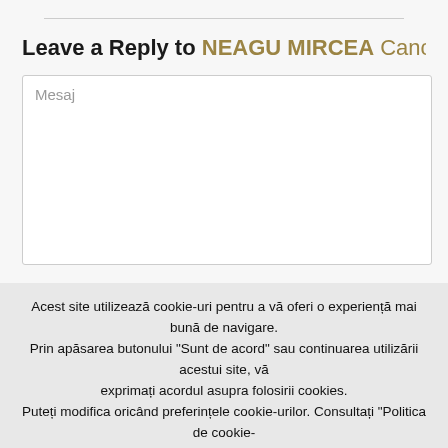Leave a Reply to NEAGU MIRCEA Cancel reply
Mesaj
Acest site utilizează cookie-uri pentru a vă oferi o experiență mai bună de navigare. Prin apăsarea butonului "Sunt de acord" sau continuarea utilizării acestui site, vă exprimați acordul asupra folosirii cookies. Puteți modifica oricând preferințele cookie-urilor. Consultați "Politica de cookie-uri" pentru a afla mai multe!
Sunt de acord
Afla mai mult